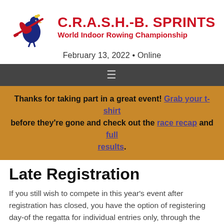C.R.A.S.H.-B. SPRINTS World Indoor Rowing Championship
February 13, 2022 • Online
≡
Thanks for taking part in a great event! Grab your t-shirt before they're gone and check out the race recap and full results.
Late Registration
If you still wish to compete in this year's event after registration has closed, you have the option of registering day-of the regatta for individual entries only, through the Bull Pen. Bull Pen entry is $50.00, cash only, no exceptions. Erg space is not guaranteed. Competitor's results from the Bullpen will be matched to their event